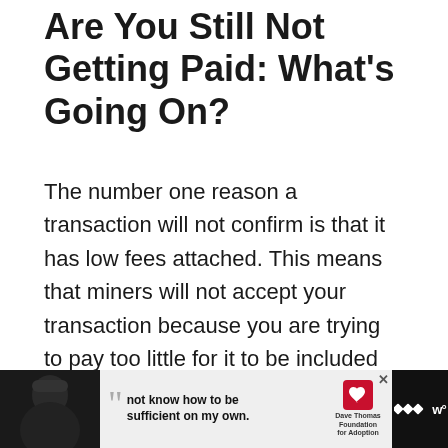Are You Still Not Getting Paid: What's Going On?
The number one reason a transaction will not confirm is that it has low fees attached. This means that miners will not accept your transaction because you are trying to pay too little for it to be included in a current block.
[Figure (screenshot): Advertisement banner at bottom: dark background with person wearing beanie hat, quote text 'not know how to be sufficient on my own.', Dave Thomas Foundation for Adoption logo, and Tidal music logo.]